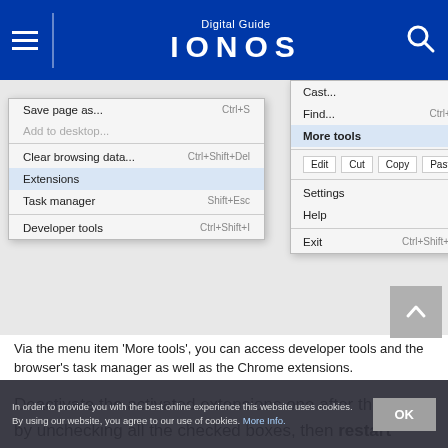Digital Guide IONOS
[Figure (screenshot): Chrome browser right-click context menu showing 'More tools' submenu expanded, listing options: Save page as... Ctrl+S, Add to desktop..., Clear browsing data... Ctrl+Shift+Del, Extensions (highlighted), Task manager Shift+Esc, Developer tools Ctrl+Shift+I. Right side shows: Cast..., Find... Ctrl+F, More tools (highlighted with arrow), Edit/Cut/Copy/Paste, Settings, Help, Exit Ctrl+Shift+Q.]
Via the menu item 'More tools', you can access developer tools and the browser's task manager as well as the Chrome extensions.
Deactivate the activated extensions one after the other by unchecking all the checked boxes, then restart Chrome and check if ERR_SSL_PROTOCOL_ERROR continues to occur when